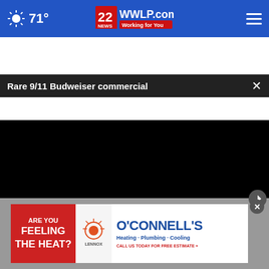71° — 22WWLP.com News Working for You
Rare 9/11 Budweiser commercial
[Figure (screenshot): Black video player area showing a paused video with play button, mute button, and fullscreen icon controls at the bottom.]
[Figure (screenshot): O'Connell's Heating Plumbing Cooling advertisement with text: ARE YOU FEELING THE HEAT? O'CONNELL'S Heating - Plumbing - Cooling. LENNOX. CALL US TODAY FOR FREE ESTIMATE.]